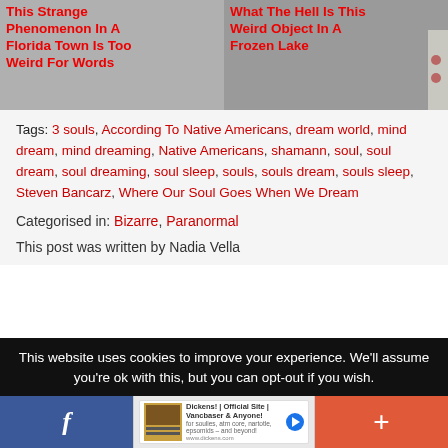[Figure (photo): Two article thumbnails side by side: left shows 'This Strange Phenomenon In A Florida Town Is Too Weird For Words', right shows 'What The Hell Is This Weird Object In A Frozen Lake']
Tags: 3 souls, According To Native Americans, dream world, mind dream, mind dreaming, Native Americans, shamann, soul, soul dream, soul dreaming, soul sleep, souls, souls dream, souls sleep, Steven Bancarz, Where Our Soul Goes When We Dream
Categorised in: Bizarre, Paranormal
This post was written by Nadia Vella
This website uses cookies to improve your experience. We'll assume you're ok with this, but you can opt-out if you wish.